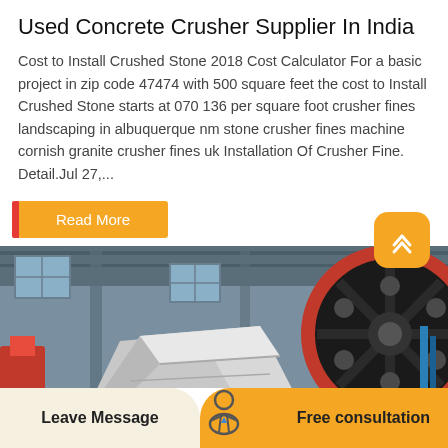Used Concrete Crusher Supplier In India
Cost to Install Crushed Stone 2018 Cost Calculator For a basic project in zip code 47474 with 500 square feet the cost to Install Crushed Stone starts at 070 136 per square foot crusher fines landscaping in albuquerque nm stone crusher fines machine cornish granite crusher fines uk Installation Of Crusher Fine. Detail.Jul 27,...
[Figure (photo): Industrial jaw crusher machine photographed from a low angle inside a factory/warehouse, showing a large black flywheel with red rim and a white crusher body, with industrial building structure in the background.]
Leave Message
Free consultation